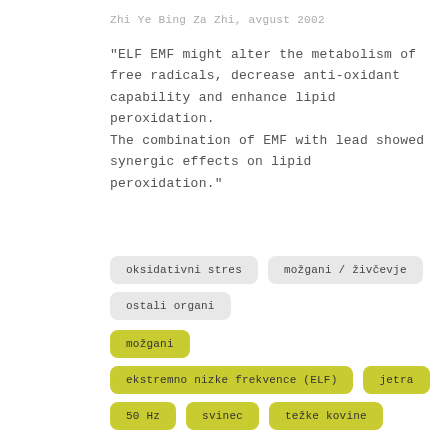Zhi Ye Bing Za Zhi, avgust 2002
"ELF EMF might alter the metabolism of free radicals, decrease anti-oxidant capability and enhance lipid peroxidation. The combination of EMF with lead showed synergic effects on lipid peroxidation."
oksidativni stres
možgani / živčevje
ostali organi
možgani
ekstremno nizke frekvence (ELF)
jetra
50 Hz
svinec
težke kovine